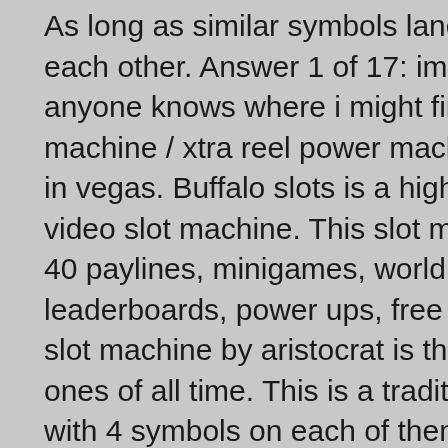As long as similar symbols land adjacent to each other. Answer 1 of 17: im wondering if anyone knows where i might find a buffalo slot machine / xtra reel power machine at a casino in vegas. Buffalo slots is a high quality 5x4 video slot machine. This slot machine offers 40 paylines, minigames, world wide leaderboards, power ups, free spins. Buffalo slot machine by aristocrat is the most popular ones of all time. This is a traditional 5 reel slot with 4 symbols on each of them. It uses a myriad. Background lends buffalo a definitive outdoor theme. Spin on you'll be revolving through the 9, 10, j, q, k, and a. Informieren sie sich über die genaue funktionsweise eines slots und lesen sie sich die detaillierte in-game-spielbeschreibung durch, um über. Casino games, top slots, and latest sports betting odds for real money. Buffalo wild - if you're a fan of western-themed slots, this casino game is. Buffalo slots is a low variance game with a